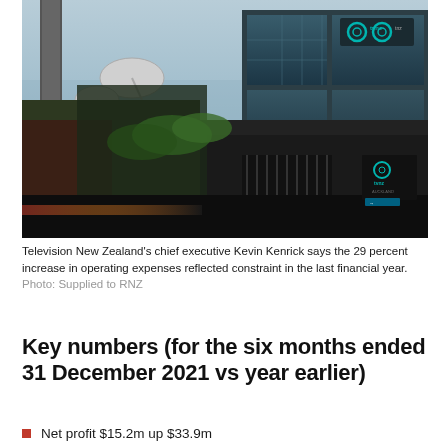[Figure (photo): Exterior photo of Television New Zealand (TVNZ) building at dusk, showing a modern multi-story glass building with satellite dishes, a tall tower on the left, TVNZ and Tune logos lit up on the building facade, and street-level fencing.]
Television New Zealand's chief executive Kevin Kenrick says the 29 percent increase in operating expenses reflected constraint in the last financial year. Photo: Supplied to RNZ
Key numbers (for the six months ended 31 December 2021 vs year earlier)
Net profit $15.2m up $33.9m